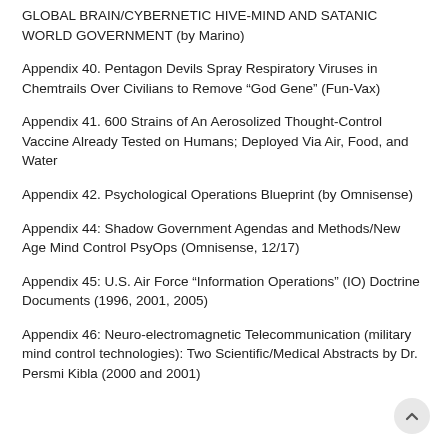GLOBAL BRAIN/CYBERNETIC HIVE-MIND AND SATANIC WORLD GOVERNMENT (by Marino)
Appendix 40. Pentagon Devils Spray Respiratory Viruses in Chemtrails Over Civilians to Remove “God Gene” (Fun-Vax)
Appendix 41. 600 Strains of An Aerosolized Thought-Control Vaccine Already Tested on Humans; Deployed Via Air, Food, and Water
Appendix 42. Psychological Operations Blueprint (by Omnisense)
Appendix 44: Shadow Government Agendas and Methods/New Age Mind Control PsyOps (Omnisense, 12/17)
Appendix 45: U.S. Air Force “Information Operations” (IO) Doctrine Documents (1996, 2001, 2005)
Appendix 46: Neuro-electromagnetic Telecommunication (military mind control technologies): Two Scientific/Medical Abstracts by Dr. Persmi Kibla (2000 and 2001)